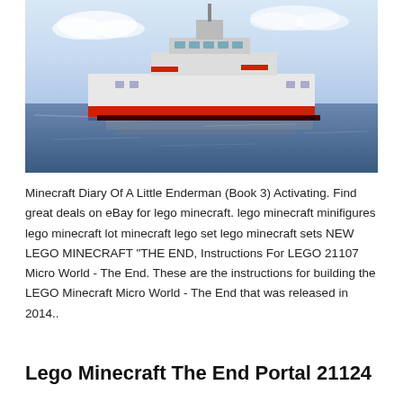[Figure (illustration): A Minecraft-style blocky ship with white and red coloring floating on dark blue water under a light blue sky with clouds.]
Minecraft Diary Of A Little Enderman (Book 3) Activating. Find great deals on eBay for lego minecraft. lego minecraft minifigures lego minecraft lot minecraft lego set lego minecraft sets NEW LEGO MINECRAFT "THE END, Instructions For LEGO 21107 Micro World - The End. These are the instructions for building the LEGO Minecraft Micro World - The End that was released in 2014..
Lego Minecraft The End Portal 21124